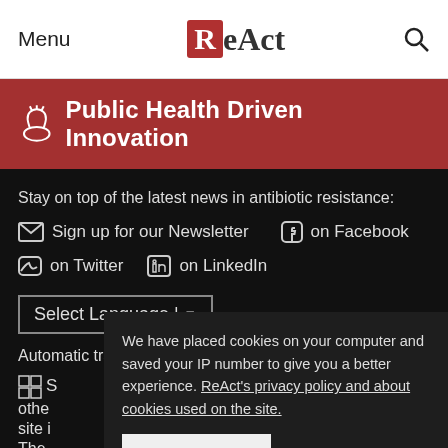Menu | ReAct | Search
Public Health Driven Innovation
Stay on top of the latest news in antibiotic resistance:
Sign up for our Newsletter
on Facebook
on Twitter
on LinkedIn
Select Language | ▼
Automatic translation by Google. Limitations and info.
We have placed cookies on your computer and saved your IP number to give you a better experience. ReAct's privacy policy and about cookies used on the site.
I understand